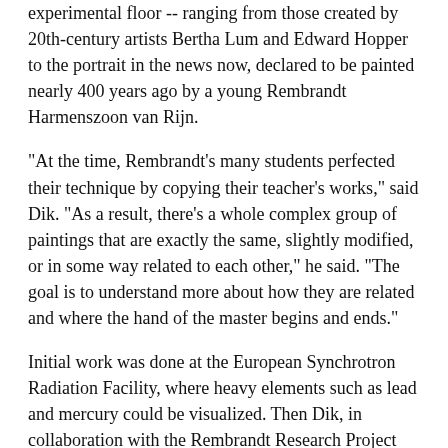experimental floor -- ranging from those created by 20th-century artists Bertha Lum and Edward Hopper to the portrait in the news now, declared to be painted nearly 400 years ago by a young Rembrandt Harmenszoon van Rijn.
"At the time, Rembrandt's many students perfected their technique by copying their teacher's works," said Dik. "As a result, there's a whole complex group of paintings that are exactly the same, slightly modified, or in some way related to each other," he said. "The goal is to understand more about how they are related and where the hand of the master begins and ends."
Initial work was done at the European Synchrotron Radiation Facility, where heavy elements such as lead and mercury could be visualized. Then Dik, in collaboration with the Rembrandt Research Project and the painting's owner, a private collector, discovered some puzzling information: Studies with a portable x-ray fluorescence (XRF) scanner revealed high concentrations of copper, not evident on the painting's surface.
To investigate this anomaly further, the group teamed up with researchers from Cornell University, Australia's Commonwealth Scientific and Industrial Research Organisation (CSIRO), and NIST to use XRF through the Advanced...